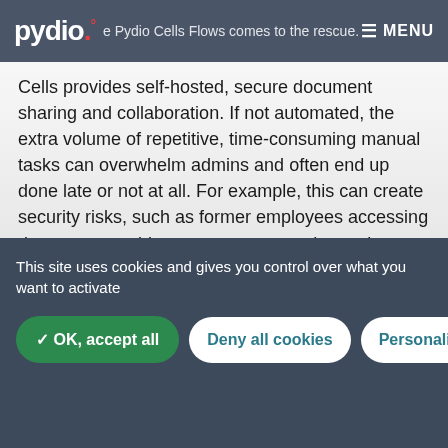Pydio Cells Flows comes to the rescue. Cells provides self-hosted, secure document sharing and collaboration. MENU
Cells provides self-hosted, secure document sharing and collaboration. If not automated, the extra volume of repetitive, time-consuming manual tasks can overwhelm admins and often end up done late or not at all. For example, this can create security risks, such as former employees accessing documents or drive up storage costs by storing unused files indefinitely.
The equation is simple:
This site uses cookies and gives you control over what you want to activate